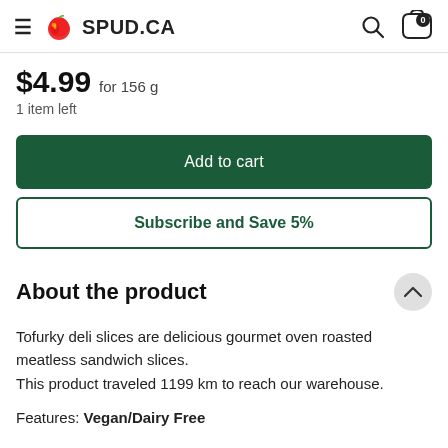SPUD.CA
$4.99 for 156 g
1 item left
Add to cart
Subscribe and Save 5%
About the product
Tofurky deli slices are delicious gourmet oven roasted meatless sandwich slices.
This product traveled 1199 km to reach our warehouse.
Features: Vegan/Dairy Free